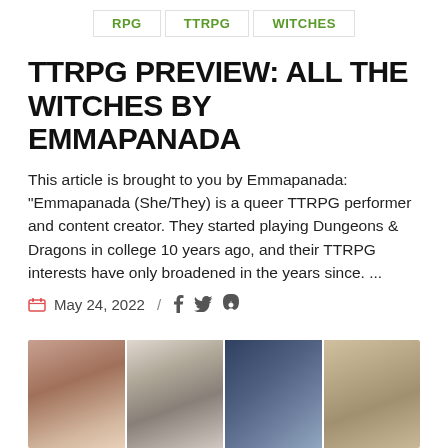RPG   TTRPG   WITCHES
TTRPG PREVIEW: ALL THE WITCHES BY EMMAPANADA
This article is brought to you by Emmapanada: "Emmapanada (She/They) is a queer TTRPG performer and content creator. They started playing Dungeons & Dragons in college 10 years ago, and their TTRPG interests have only broadened in the years since. ...
May 24, 2022 / f  Twitter  Pinterest
[Figure (photo): A strip of four portrait photos of people, partially cropped at the bottom of the page.]